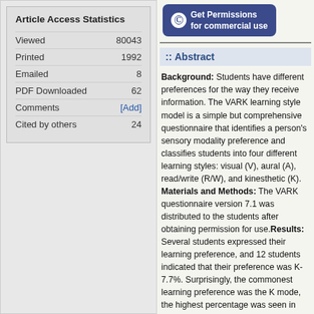| Article Access Statistics |  |
| --- | --- |
| Viewed | 80043 |
| Printed | 1992 |
| Emailed | 8 |
| PDF Downloaded | 62 |
| Comments | [Add] |
| Cited by others | 24 |
[Figure (other): Get Permissions for commercial use button with copyright symbol]
:: Abstract
Background: Students have different preferences for the way they receive information. The VARK learning style model is a simple but comprehensive questionnaire that identifies a person's sensory modality preference and classifies students into four different learning styles: visual (V), aural (A), read/write (R/W), and kinesthetic (K). Materials and Methods: The VARK questionnaire version 7.1 was distributed to the students after obtaining permission for use. Results: Several students expressed their learning preference, and 12 students indicated that their preference was K-7.7%. Surprisingly, the commonest learning preference was the K mode, the highest percentage was seen in the AK (33%) and the most common trimodal preference was ARK (8.9%). The total scores were V-371, A-588, R/W-432, and K-581; auditory mode had the highest score. Visual mode had the lowest overall score. There was no difference in preference between the sexes. Conclusions: Students have diverse preferences. This necessitates teachers to cater to the needs of each student. Multiple modalities of information delivery enhances learning and motivation of our students requiring a shift from the teacher-centric lecture method to an interactive, student-centric approach.